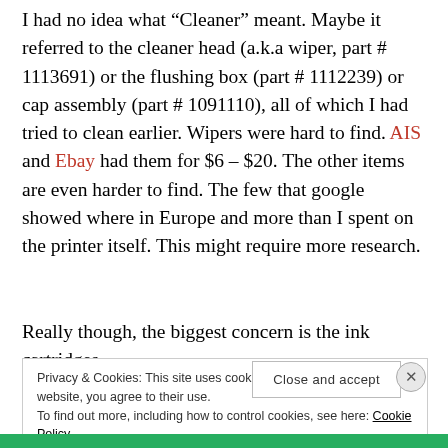I had no idea what "Cleaner" meant. Maybe it referred to the cleaner head (a.k.a wiper, part # 1113691) or the flushing box (part # 1112239) or cap assembly (part # 1091110), all of which I had tried to clean earlier. Wipers were hard to find. AIS and Ebay had them for $6 – $20. The other items are even harder to find. The few that google showed where in Europe and more than I spent on the printer itself. This might require more research.
Really though, the biggest concern is the ink cartridges.
Privacy & Cookies: This site uses cookies. By continuing to use this website, you agree to their use. To find out more, including how to control cookies, see here: Cookie Policy